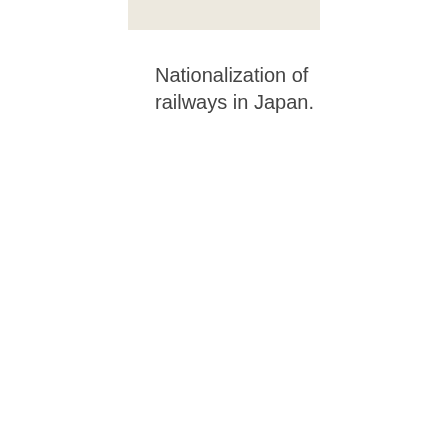[Figure (other): A rectangular image with a light beige/cream background, partially visible at the top of the page, cropped.]
Nationalization of railways in Japan.